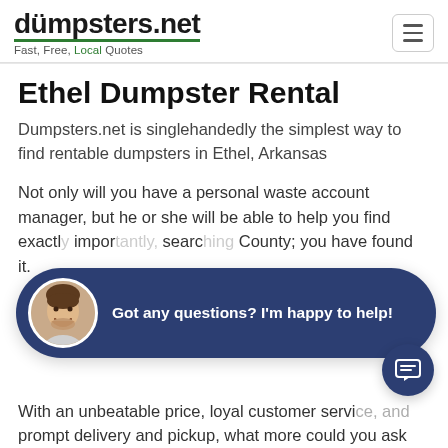dumpsters.net — Fast, Free, Local Quotes
Ethel Dumpster Rental
Dumpsters.net is singlehandedly the simplest way to find rentable dumpsters in Ethel, Arkansas
Not only will you have a personal waste account manager, but he or she will be able to help you find exactly what you need. Most importantly, if you have been searching for dumpster rental in Calhoun County; you have found it.
[Figure (other): Chat widget overlay with avatar photo of smiling man and text: Got any questions? I'm happy to help!]
With an unbeatable price, loyal customer service, and prompt delivery and pickup, what more could you ask